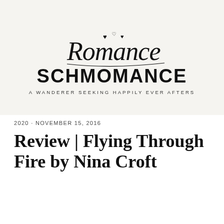[Figure (logo): Romance Schmomance blog logo — cursive 'Romance' script above bold 'SCHMOMANCE' with tagline 'A WANDERER SEEKING HAPPILY EVER AFTERS' and small heart decorations]
2020 · NOVEMBER 15, 2016
Review | Flying Through Fire by Nina Croft